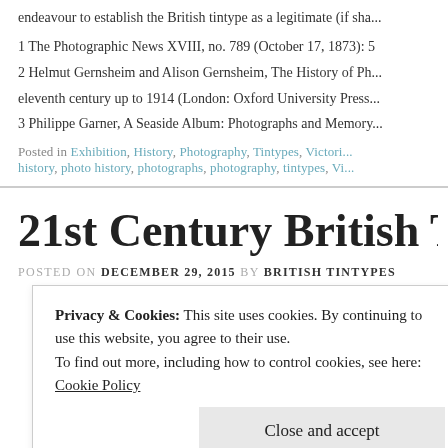endeavour to establish the British tintype as a legitimate (if sha...
1 The Photographic News XVIII, no. 789 (October 17, 1873): 5
2 Helmut Gernsheim and Alison Gernsheim, The History of Ph... eleventh century up to 1914 (London: Oxford University Press...
3 Philippe Garner, A Seaside Album: Photographs and Memory...
Posted in Exhibition, History, Photography, Tintypes, Victori... history, photo history, photographs, photography, tintypes, Vi...
21st Century British Tinty...
POSTED ON DECEMBER 29, 2015 BY BRITISH TINTYPES
[Figure (photo): Black and white photograph, partially visible at top]
Privacy & Cookies: This site uses cookies. By continuing to use this website, you agree to their use. To find out more, including how to control cookies, see here: Cookie Policy
Close and accept
[Figure (photo): Black and white photograph, partially visible at bottom]